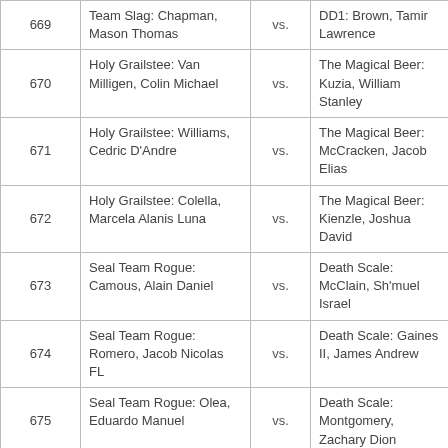|  | Team / Player | vs. | Team / Player |
| --- | --- | --- | --- |
| 669 | Team Slag: Chapman, Mason Thomas | vs. | DD1: Brown, Tamir Lawrence |
| 670 | Holy Grailstee: Van Milligen, Colin Michael | vs. | The Magical Beer: Kuzia, William Stanley |
| 671 | Holy Grailstee: Williams, Cedric D'Andre | vs. | The Magical Beer: McCracken, Jacob Elias |
| 672 | Holy Grailstee: Colella, Marcela Alanis Luna | vs. | The Magical Beer: Kienzle, Joshua David |
| 673 | Seal Team Rogue: Camous, Alain Daniel | vs. | Death Scale: McClain, Sh'muel Israel |
| 674 | Seal Team Rogue: Romero, Jacob Nicolas FL | vs. | Death Scale: Gaines II, James Andrew |
| 675 | Seal Team Rogue: Olea, Eduardo Manuel | vs. | Death Scale: Montgomery, Zachary Dion |
| 676 | 404: Irra, Victor | vs. | The Goo Gaming: Runge, Tyler Lee |
| 677 | 404: Katsoulas, Thomas | vs. | The Goo Gaming: Burnham, William Gayle |
| 678 | 404: Ray, Christopher Wayne | vs. | The Goo Gaming: Daughtry, Calvin James |
| 679 | Bandlot: Richardson, | vs. | Oreo Joakingly: Perez Jr., |